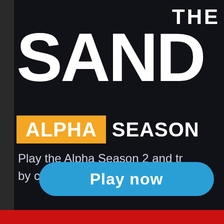[Figure (screenshot): The Sandbox Alpha Season 2 promotional banner with dark background, large white 'THE SANDBOX' logo text, 'ALPHA SEASON' text with yellow highlight on ALPHA, a description reading 'Play the Alpha Season 2 and tr... by completing Quests.', and a blue 'Play now' button.]
Play the Alpha Season 2 and tr... by completing Quests.
Play now